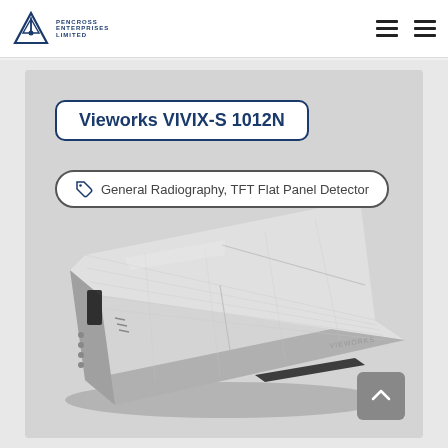Pencross Enterprises Limited — Navigation bar with logo and hamburger menus
Vieworks VIVIX-S 1012N
General Radiography, TFT Flat Panel Detector
[Figure (photo): 3D render of the Vieworks VIVIX-S 1012N TFT flat panel detector, shown at an angle, silver/white device with grid texture surface, on a light grey background]